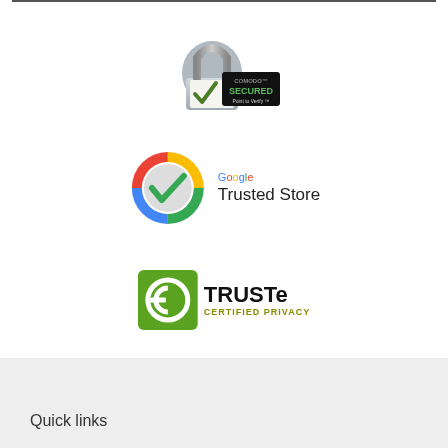[Figure (logo): Comodo Secured badge with padlock icon and 'Point to Verify' text]
[Figure (logo): Google Trusted Store badge with colorful circular checkmark and Google branding]
[Figure (logo): TRUSTe Certified Privacy badge with green background and stylized e logo]
Quick links